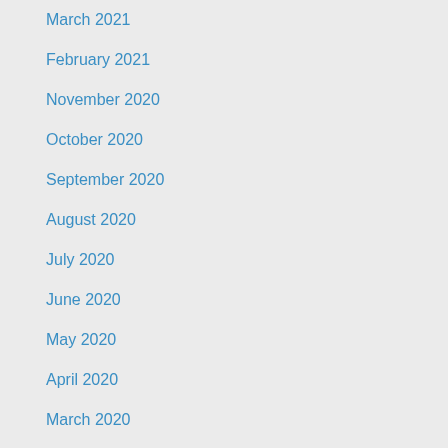March 2021
February 2021
November 2020
October 2020
September 2020
August 2020
July 2020
June 2020
May 2020
April 2020
March 2020
February 2020
November 2019
October 2019
September 2019